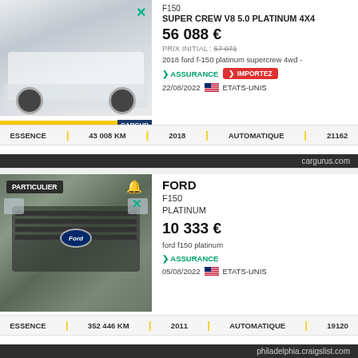[Figure (photo): White Ford F-150 Super Crew pickup truck, front three-quarter view, with '30-day money back returns' yellow badge and CarGurus branding]
F150
SUPER CREW V8 5.0 PLATINUM 4X4
56 088 €
PRIX INITIAL : 57 071
2018 ford f-150 platinum supercrew 4wd -
ASSURANCE   IMPORTEZ
22/08/2022   ETATS-UNIS
ESSENCE | 43 008 KM | 2018 | AUTOMATIQUE | 21162
cargurus.com
[Figure (photo): Gray Ford F-150 Platinum pickup truck, close-up front grille view with Ford oval logo, PARTICULIER badge]
FORD
F150
PLATINUM
10 333 €
ford f150 platinum
ASSURANCE
05/08/2022   ETATS-UNIS
ESSENCE | 352 446 KM | 2011 | AUTOMATIQUE | 19120
philadelphia.craigslist.com